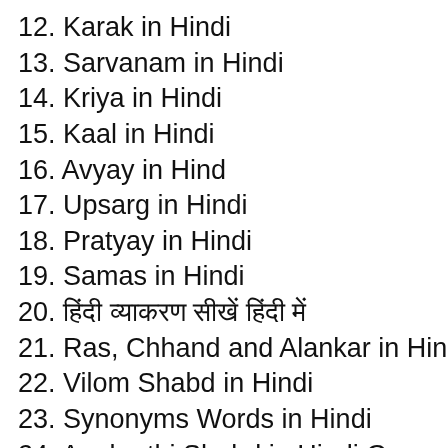12. Karak in Hindi
13. Sarvanam in Hindi
14. Kriya in Hindi
15. Kaal in Hindi
16. Avyay in Hind
17. Upsarg in Hindi
18. Pratyay in Hindi
19. Samas in Hindi
20. हिंदी व्याकरण सीखें हिंदी में
21. Ras, Chhand and Alankar in Hindi
22. Vilom Shabd in Hindi
23. Synonyms Words in Hindi
24. Anekarthi Shabd in Hindi Grammar
25. Anek Shabdon Ke Liye Ek Shabd
26. Sahchar Shabd in Hindi Grammar
27. Muhavare in Hindi